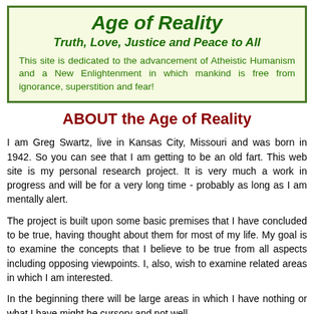Age of Reality
Truth, Love, Justice and Peace to All
This site is dedicated to the advancement of Atheistic Humanism and a New Enlightenment in which mankind is free from ignorance, superstition and fear!
ABOUT the Age of Reality
I am Greg Swartz, live in Kansas City, Missouri and was born in 1942. So you can see that I am getting to be an old fart. This web site is my personal research project. It is very much a work in progress and will be for a very long time - probably as long as I am mentally alert.
The project is built upon some basic premises that I have concluded to be true, having thought about them for most of my life. My goal is to examine the concepts that I believe to be true from all aspects including opposing viewpoints. I, also, wish to examine related areas in which I am interested.
In the beginning there will be large areas in which I have nothing or what I have might be cursory and not well